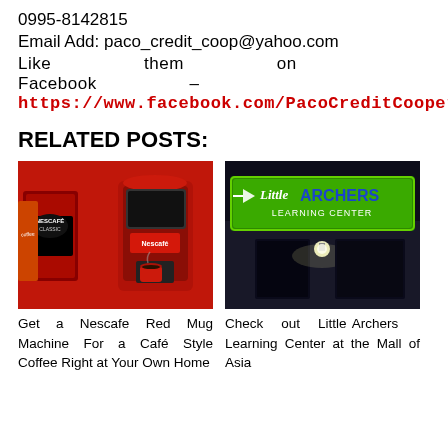0995-8142815
Email Add: paco_credit_coop@yahoo.com
Like them on Facebook –
https://www.facebook.com/PacoCreditCooperati
RELATED POSTS:
[Figure (photo): Nescafe Classic Red Mug Machine with coffee products on display]
[Figure (photo): Little Archers Learning Center illuminated green storefront sign at night]
Get a Nescafe Red Mug Machine For a Café Style Coffee Right at Your Own Home
Check out Little Archers Learning Center at the Mall of Asia